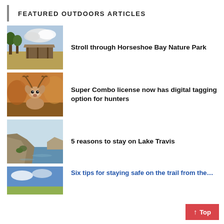FEATURED OUTDOORS ARTICLES
[Figure (photo): Outdoor shelter/pavilion in grassy field with trees and cloudy sky]
Stroll through Horseshoe Bay Nature Park
[Figure (photo): Close-up photo of a white-tailed deer with antlers]
Super Combo license now has digital tagging option for hunters
[Figure (photo): Rocky lakeshore with water and vegetation]
5 reasons to stay on Lake Travis
[Figure (photo): Partially visible image, blue sky and landscape, article cut off]
Six tips for staying safe on the trail from the…